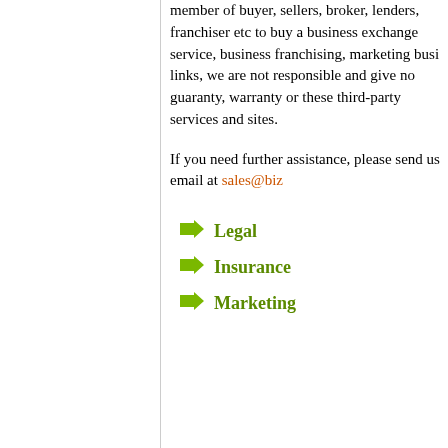member of buyer, sellers, broker, lenders, franchiser etc to buy a business exchange service, business franchising, marketing busi... links, we are not responsible and give no guaranty, warranty or... these third-party services and sites.
If you need further assistance, please send us email at sales@biz...
Legal
Insurance
Marketing